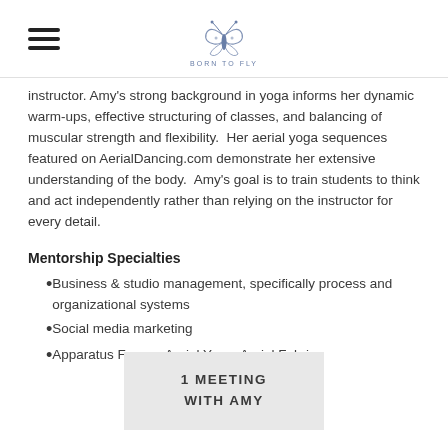Born to Fly logo and navigation
instructor. Amy's strong background in yoga informs her dynamic warm-ups, effective structuring of classes, and balancing of muscular strength and flexibility.  Her aerial yoga sequences featured on AerialDancing.com demonstrate her extensive understanding of the body.  Amy's goal is to train students to think and act independently rather than relying on the instructor for every detail.
Mentorship Specialties
Business & studio management, specifically process and organizational systems
Social media marketing
Apparatus Focus:  Aerial Yoga, Aerial Fabric
1 MEETING WITH AMY